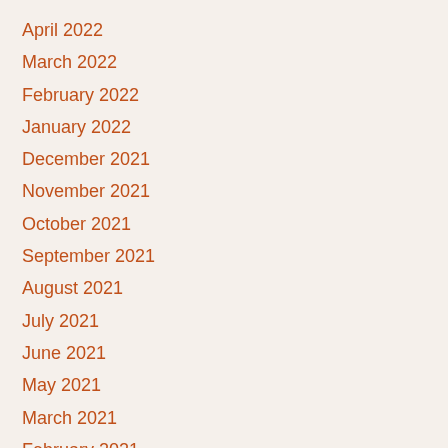April 2022
March 2022
February 2022
January 2022
December 2021
November 2021
October 2021
September 2021
August 2021
July 2021
June 2021
May 2021
March 2021
February 2021